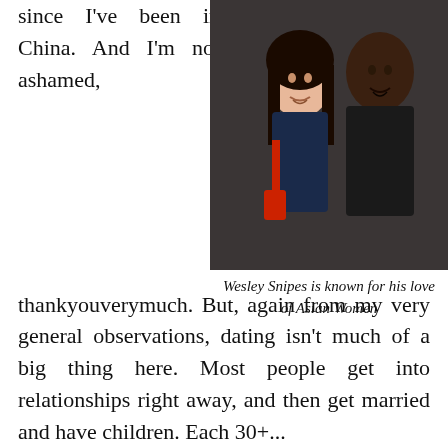since I've been in China. And I'm not ashamed,
[Figure (photo): A woman and a man posing together for a photo. The woman is wearing a navy blue dress and carrying a red bag. The man is wearing a dark jacket. Both are smiling.]
Wesley Snipes is known for his love of Asian Women
thankyouverymuch. But, again from my very general observations, dating isn't much of a big thing here. Most people get into relationships right away, and then get married and have children. Each 30+...